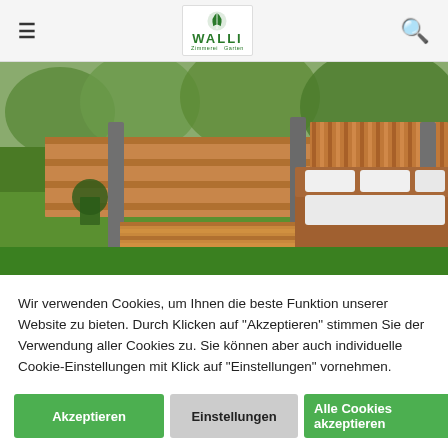WALLI — navigation header with hamburger menu, logo, and search icon
[Figure (photo): Outdoor garden terrace with wooden slatted fence panels, wooden deck, and rattan outdoor sofa with white cushions under a pergola structure, green lawn and trees visible]
Wir verwenden Cookies, um Ihnen die beste Funktion unserer Website zu bieten. Durch Klicken auf "Akzeptieren" stimmen Sie der Verwendung aller Cookies zu. Sie können aber auch individuelle Cookie-Einstellungen mit Klick auf "Einstellungen" vornehmen.
Akzeptieren
Einstellungen
Alle Cookies akzeptieren